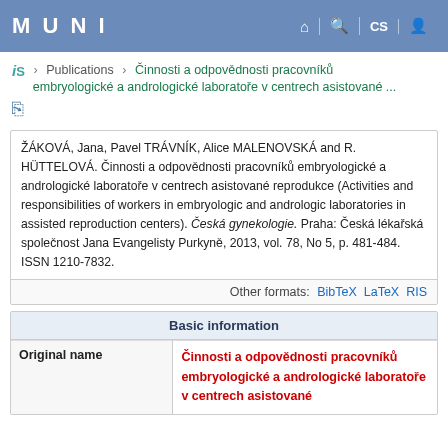MUNI | Home | Search | CS | User
iS > Publications > Činnosti a odpovědnosti pracovníků embryologické a andrologické laboratoře v centrech asistované ...
ŽÁKOVÁ, Jana, Pavel TRÁVNÍK, Alice MALENOVSKÁ and R. HÜTTELOVÁ. Činnosti a odpovědnosti pracovníků embryologické a andrologické laboratoře v centrech asistované reprodukce (Activities and responsibilities of workers in embryologic and andrologic laboratories in assisted reproduction centers). Česká gynekologie. Praha: Česká lékařská společnost Jana Evangelisty Purkyně, 2013, vol. 78, No 5, p. 481-484. ISSN 1210-7832.
Other formats: BibTeX LaTeX RIS
| Basic information |
| --- |
| Original name | Činnosti a odpovědnosti pracovníků embryologické a andrologické laboratoře v centrech asistované |